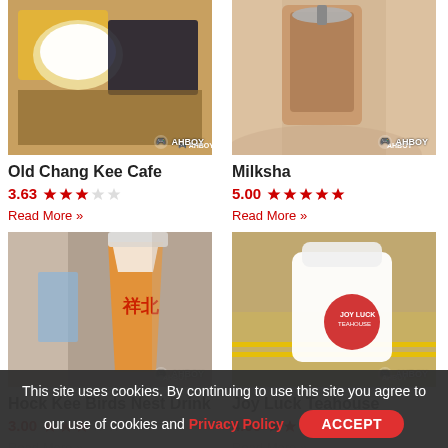[Figure (photo): Food photo for Old Chang Kee Cafe showing rice and curry dish with AHBOY watermark]
[Figure (photo): Drink photo for Milksha showing bubble tea held in hand with AHBOY watermark]
Old Chang Kee Cafe
3.63 ★★★☆☆
Read More »
Milksha
5.00 ★★★★★
Read More »
[Figure (photo): Drink photo for Hock Kee Birds Nest Drink showing orange drink held in hand with AHBOY watermark]
[Figure (photo): Food photo for Joy Luck Teahouse showing pastry bag held in hand with AHBOY watermark]
Hock Kee Birds Nest Drink
3.00 ★★★☆☆
Read More »
Joy Luck Teahouse
4.00 ★★★★☆
Read More »
This site uses cookies. By continuing to use this site you agree to our use of cookies and Privacy Policy  ACCEPT